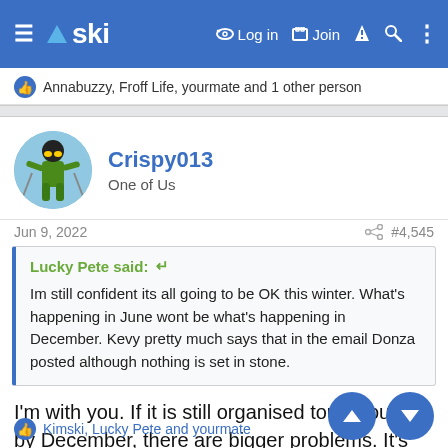ski — Log in  Join
Annabuzzy, Froff Life, yourmate and 1 other person
Crispy013
One of Us
Jun 9, 2022  #4,545
Lucky Pete said:
Im still confident its all going to be OK this winter. What's happening in June wont be what's happening in December. Kevy pretty much says that in the email Donza posted although nothing is set in stone.
I'm with you. If it is still organised tour groups by December, there are bigger problems. It's just not sustainable
Kimski, Lucky Pete and yourmate